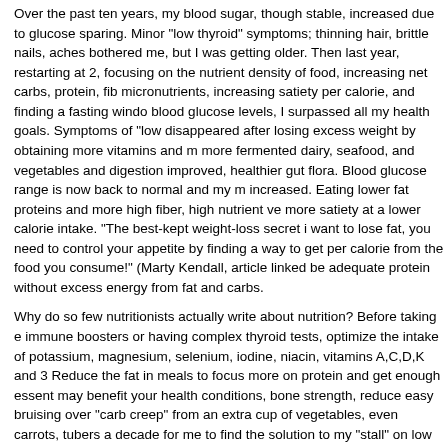Over the past ten years, my blood sugar, though stable, increased due to glucose sparing. Minor "low thyroid" symptoms; thinning hair, brittle nails, aches bothered me, but I was getting older. Then last year, restarting at 2, focusing on the nutrient density of food, increasing net carbs, protein, fib micronutrients, increasing satiety per calorie, and finding a fasting windo blood glucose levels, I surpassed all my health goals. Symptoms of "low disappeared after losing excess weight by obtaining more vitamins and m more fermented dairy, seafood, and vegetables and digestion improved, healthier gut flora. Blood glucose range is now back to normal and my m increased. Eating lower fat proteins and more high fiber, high nutrient ve more satiety at a lower calorie intake. "The best-kept weight-loss secret i want to lose fat, you need to control your appetite by finding a way to get per calorie from the food you consume!" (Marty Kendall, article linked be adequate protein without excess energy from fat and carbs.
Why do so few nutritionists actually write about nutrition? Before taking e immune boosters or having complex thyroid tests, optimize the intake of potassium, magnesium, selenium, iodine, niacin, vitamins A,C,D,K and 3 Reduce the fat in meals to focus more on protein and get enough essent may benefit your health conditions, bone strength, reduce easy bruising over "carb creep" from an extra cup of vegetables, even carrots, tubers a decade for me to find the solution to my "stall" on low carb; Dr Ted Naima Marty Kendall's Optimising Nutrition. All 11 nutrients that benefit thyroid t nutrients to improve other common disorders, are in MartyKendall's artic Nutrient Density? https://optimisingnutrition.com/nut...101/#more-12093
My macro targets for active weight loss are 15-20% (around 50g) non-fib nutrient dense foods (vegetables, fruit, tubers) and about 40% lean prote 145 g based on my ideal weight including more seafood and dairy). Tha